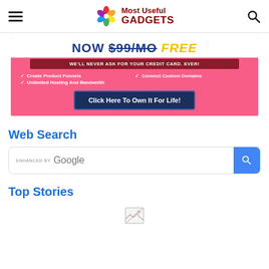Most Useful GADGETS
[Figure (infographic): Advertisement banner with pink background. Text 'NOW $99/MO FREE', 'WE'LL NEVER ASK FOR YOUR CREDIT CARD. EVER!', features: Create Product Funnels, Connect Custom Domains, Unlimited Hosting And Bandwidth. Button: Click Here To Own It For Life!]
Web Search
[Figure (screenshot): Google search bar with 'ENHANCED BY Google' text and blue search button]
Top Stories
[Figure (photo): Broken image placeholder icon at bottom of page]